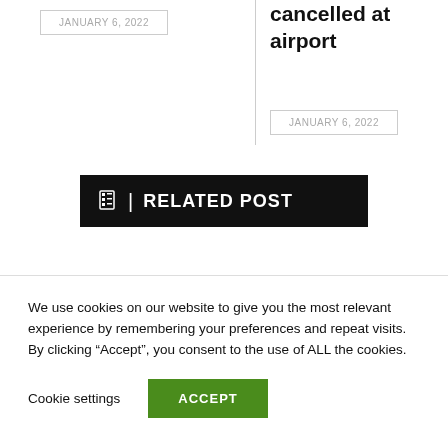JANUARY 6, 2022
cancelled at airport
JANUARY 6, 2022
RELATED POST
We use cookies on our website to give you the most relevant experience by remembering your preferences and repeat visits. By clicking “Accept”, you consent to the use of ALL the cookies.
Cookie settings
ACCEPT